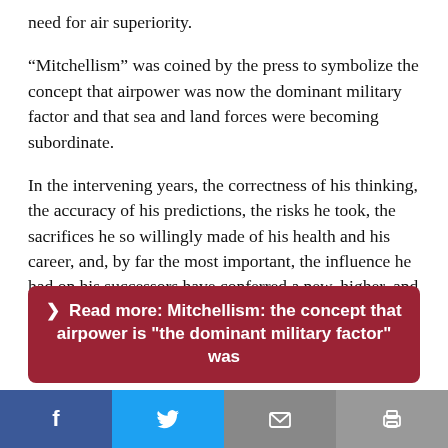need for air superiority.
“Mitchellism” was coined by the press to symbolize the concept that airpower was now the dominant military factor and that sea and land forces were becoming subordinate.
In the intervening years, the correctness of his thinking, the accuracy of his predictions, the risks he took, the sacrifices he so willingly made of his health and his career, and, by far the most important, the influence he had on his successors have conferred a new, higher, and entirely contemporary meaning on “Mitchellism.”
❯ Read more: Mitchellism: the concept that airpower is "the dominant military factor" was
[Figure (infographic): Social sharing bar with four buttons: Facebook (blue), Twitter (light blue), Email (grey), Print (grey)]